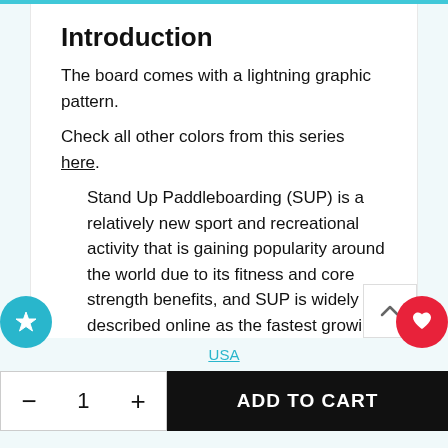Mint
Introduction
The board comes with a lightning graphic pattern.
Check all other colors from this series here.
Stand Up Paddleboarding (SUP) is a relatively new sport and recreational activity that is gaining popularity around the world due to its fitness and core strength benefits, and SUP is widely described online as the fastest growing water sport in the wo
USA
— 1 + ADD TO CART